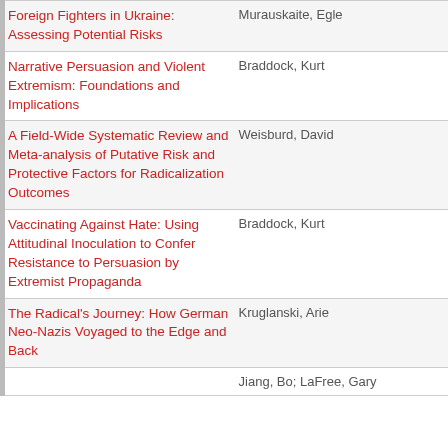| Title | Author |
| --- | --- |
| Foreign Fighters in Ukraine: Assessing Potential Risks | Murauskaite, Egle |
| Narrative Persuasion and Violent Extremism: Foundations and Implications | Braddock, Kurt |
| A Field-Wide Systematic Review and Meta-analysis of Putative Risk and Protective Factors for Radicalization Outcomes | Weisburd, David |
| Vaccinating Against Hate: Using Attitudinal Inoculation to Confer Resistance to Persuasion by Extremist Propaganda | Braddock, Kurt |
| The Radical's Journey: How German Neo-Nazis Voyaged to the Edge and Back | Kruglanski, Arie |
| ... | Jiang, Bo; LaFree, Gary |